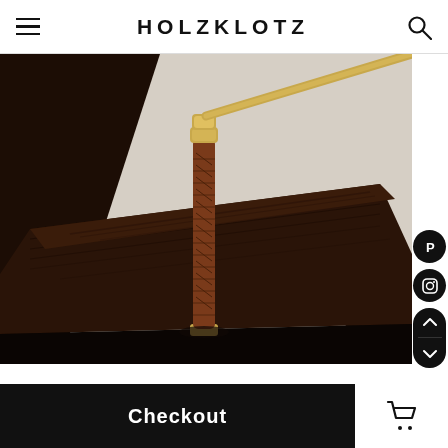HOLZKLOTZ
[Figure (photo): Close-up product photo of a dark walnut wood base with a leather-wrapped brass rod/pen holder standing upright, with a gold/brass angled arm extending to the upper right. Photographed on a white linen surface.]
Checkout